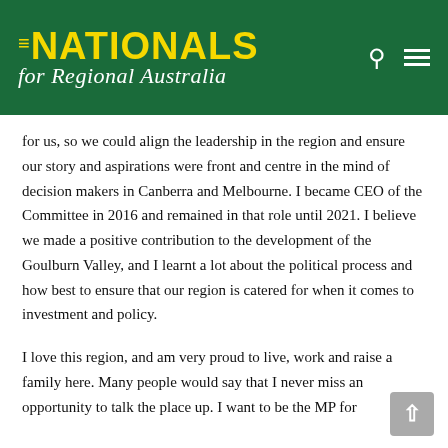[Figure (logo): The Nationals - for Regional Australia logo on dark green background with search and menu icons]
for us, so we could align the leadership in the region and ensure our story and aspirations were front and centre in the mind of decision makers in Canberra and Melbourne. I became CEO of the Committee in 2016 and remained in that role until 2021. I believe we made a positive contribution to the development of the Goulburn Valley, and I learnt a lot about the political process and how best to ensure that our region is catered for when it comes to investment and policy.
I love this region, and am very proud to live, work and raise a family here. Many people would say that I never miss an opportunity to talk the place up. I want to be the MP for